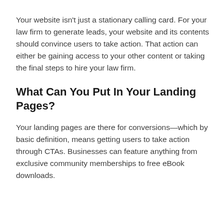Your website isn't just a stationary calling card. For your law firm to generate leads, your website and its contents should convince users to take action. That action can either be gaining access to your other content or taking the final steps to hire your law firm.
What Can You Put In Your Landing Pages?
Your landing pages are there for conversions—which by basic definition, means getting users to take action through CTAs. Businesses can feature anything from exclusive community memberships to free eBook downloads.